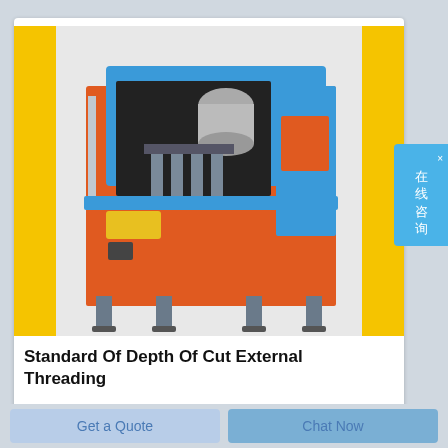[Figure (photo): Industrial threading machine with orange and blue housing, featuring a steel frame base, open top compartment with motor and threading components visible. Yellow accent bars on left and right sides of the image frame.]
Standard Of Depth Of Cut External Threading
Get a Quote
Chat Now